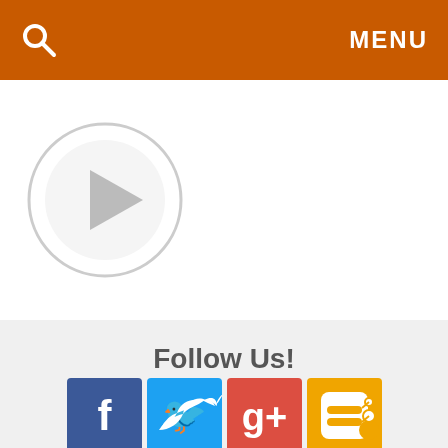MENU
[Figure (illustration): Video play button - large circle with play triangle inside, on white background]
Follow Us!
[Figure (infographic): Four social media icons: Facebook (blue), Twitter (blue), Google+ (red), RSS (orange/yellow)]
[Figure (screenshot): Cookie consent banner: This website uses cookies to ensure you get the best experience on our website, with close X button]
[Figure (infographic): Advertisement banner: The perfect gift, 35% OFF + FREE SHIPPING]